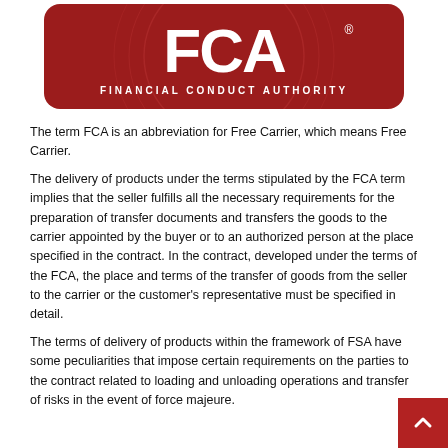[Figure (logo): FCA Financial Conduct Authority logo — dark red/crimson rounded rectangle with large white 'FCA' letters and 'FINANCIAL CONDUCT AUTHORITY' text below]
The term FCA is an abbreviation for Free Carrier, which means Free Carrier.
The delivery of products under the terms stipulated by the FCA term implies that the seller fulfills all the necessary requirements for the preparation of transfer documents and transfers the goods to the carrier appointed by the buyer or to an authorized person at the place specified in the contract. In the contract, developed under the terms of the FCA, the place and terms of the transfer of goods from the seller to the carrier or the customer's representative must be specified in detail.
The terms of delivery of products within the framework of FSA have some peculiarities that impose certain requirements on the parties to the contract related to loading and unloading operations and transfer of risks in the event of force majeure.